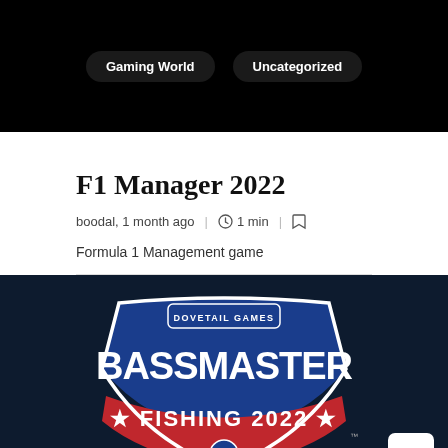[Figure (screenshot): Dark background with two pill-shaped tag buttons: 'Gaming World' and 'Uncategorized']
F1 Manager 2022
boodal, 1 month ago | 🕐 1 min | 🔖
Formula 1 Management game
[Figure (logo): Dovetail Games Bassmaster Fishing 2022 logo on dark navy background with badge shield design in blue and red]